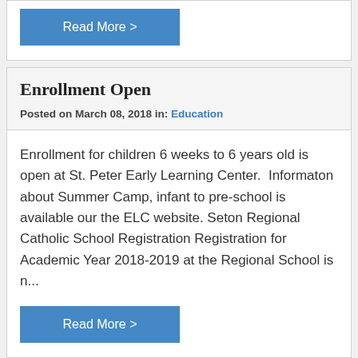Read More >
Enrollment Open
Posted on March 08, 2018 in: Education
Enrollment for children 6 weeks to 6 years old is open at St. Peter Early Learning Center.  Informaton about Summer Camp, infant to pre-school is available our the ELC website. Seton Regional Catholic School Registration Registration for Academic Year 2018-2019 at the Regional School is n...
Read More >
Region School Important Dates